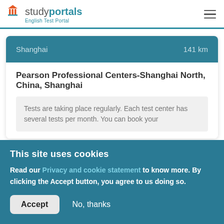studyportals — English Test Portal
Shanghai  141 km
Pearson Professional Centers-Shanghai North, China, Shanghai
Tests are taking place regularly. Each test center has several tests per month. You can book your
This site uses cookies
Read our Privacy and cookie statement to know more. By clicking the Accept button, you agree to us doing so.
Accept  No, thanks